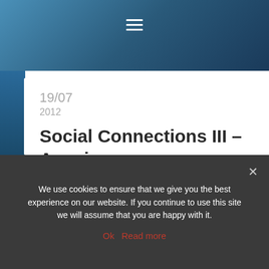Navigation menu (hamburger icon)
19/07
2012
Social Connections III – A review
News  attendee, dublin, review, soccnx  by Wannes Rams
The below review of Social Connections III was blogged to the
We use cookies to ensure that we give you the best experience on our website. If you continue to use this site we will assume that you are happy with it.
Ok  Read more